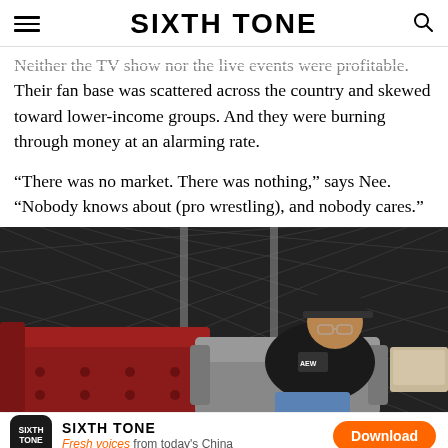SIXTH TONE
Neither the TV show nor the live events were profitable. Their fan base was scattered across the country and skewed toward lower-income groups. And they were burning through money at an alarming rate.
“There was no market. There was nothing,” says Nee. “Nobody knows about (pro wrestling), and nobody cares.”
[Figure (photo): A man wearing a cap and glasses reclines in a grey armchair, with a tufted red leather sofa beside him and a chain-link fence backdrop in a dark indoor setting. He wears a black vest with logos.]
SIXTH TONE — Fresh voices from today's China — Download